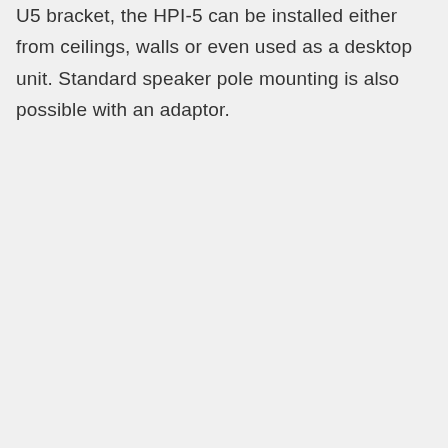U5 bracket, the HPI-5 can be installed either from ceilings, walls or even used as a desktop unit. Standard speaker pole mounting is also possible with an adaptor.